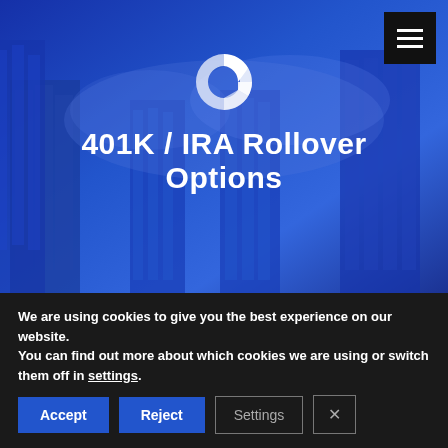[Figure (photo): Hero banner showing upward view of skyscrapers with blue tinted overlay, featuring a white pie/donut chart logo icon and the title '401K / IRA Rollover Options' in bold white text. A black hamburger menu button appears in the top right.]
We are using cookies to give you the best experience on our website.
You can find out more about which cookies we are using or switch them off in settings.
Accept
Reject
Settings
×